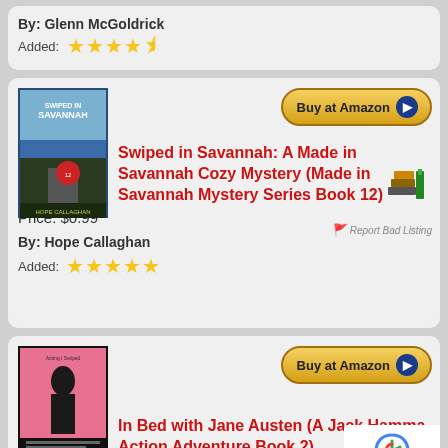By: Glenn McGoldrick
Added: ★★★★½
[Figure (screenshot): Book cover for Swiped in Savannah]
Buy at Amazon
Swiped in Savannah: A Made in Savannah Cozy Mystery (Made in Savannah Mystery Series Book 12)
Report Bad Listing
Price: $0.99
By: Hope Callaghan
Added: ★★★★★
[Figure (screenshot): Book cover for In Bed with Jane Austen]
Buy at Amazon
In Bed with Jane Austen (A Jack Hamma Action Adventure Book 2)
Report Bad Listing